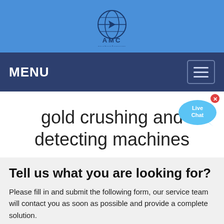[Figure (logo): AMC company logo with globe icon and text 'AMC' on a blue background header band]
MENU
[Figure (illustration): Live Chat speech bubble widget in blue with 'Live Chat' text and an X close button]
gold crushing and detecting machines
Tell us what you are looking for?
Please fill in and submit the following form, our service team will contact you as soon as possible and provide a complete solution.